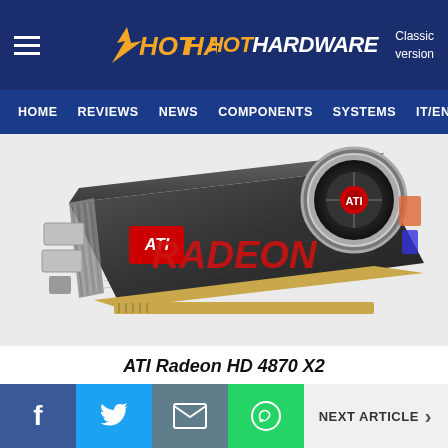HotHardware — HOME REVIEWS NEWS COMPONENTS SYSTEMS IT/EN — Classic version
[Figure (photo): ATI Radeon HD 4870 X2 graphics card shown in angled perspective view, with black shroud, red RADEON lettering, ATI logo badge, and large circular fan cooler on top right.]
ATI Radeon HD 4870 X2
Facebook | Twitter | Email | WhatsApp | NEXT ARTICLE >